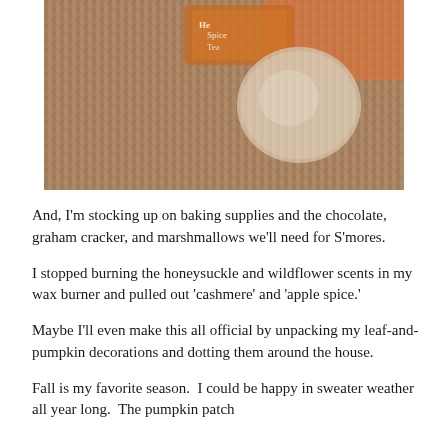[Figure (photo): Close-up photo of a woven basket/mat with a tea box labeled 'Spice Tea' (partially visible) and what appears to be a round wooden or stone object, in warm autumn tones.]
And, I'm stocking up on baking supplies and the chocolate, graham cracker, and marshmallows we'll need for S'mores.
I stopped burning the honeysuckle and wildflower scents in my wax burner and pulled out 'cashmere' and 'apple spice.'
Maybe I'll even make this all official by unpacking my leaf-and-pumpkin decorations and dotting them around the house.
Fall is my favorite season.  I could be happy in sweater weather all year long.  The pumpkin patch